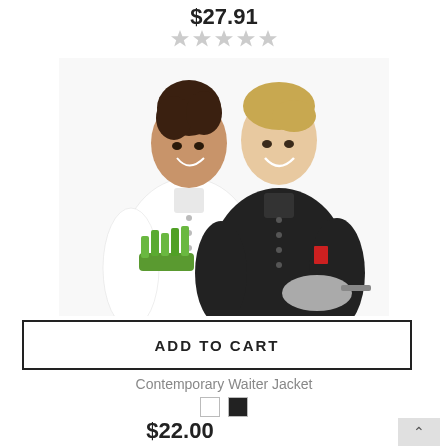$27.91
[Figure (other): Star rating display — 5 empty/grey stars]
[Figure (photo): Two women wearing chef/waiter jackets — one in white jacket holding celery, one in black jacket holding a pan — smiling on white background]
ADD TO CART
Contemporary Waiter Jacket
[Figure (other): Two color swatches: white and black]
$22.00